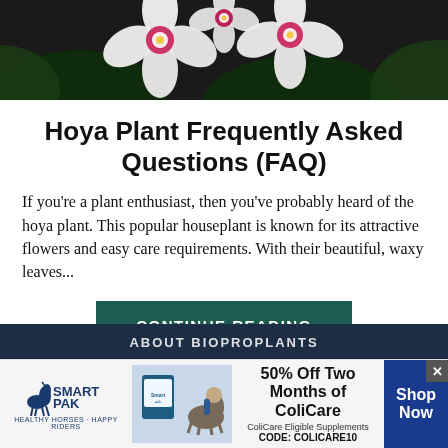[Figure (photo): Close-up photo of white and pink hoya flowers with dark green foliage background]
Hoya Plant Frequently Asked Questions (FAQ)
If you're a plant enthusiast, then you've probably heard of the hoya plant. This popular houseplant is known for its attractive flowers and easy care requirements. With their beautiful, waxy leaves...
CONTINUE READING
ABOUT BIOPROPLANTS
[Figure (infographic): SmartPak advertisement banner: SmartPak logo with horse icon, product image, horse and rider photo, text '50% Off Two Months of ColiCare, ColiCare Eligible Supplements, CODE: COLICARE10', and 'Shop Now' button]